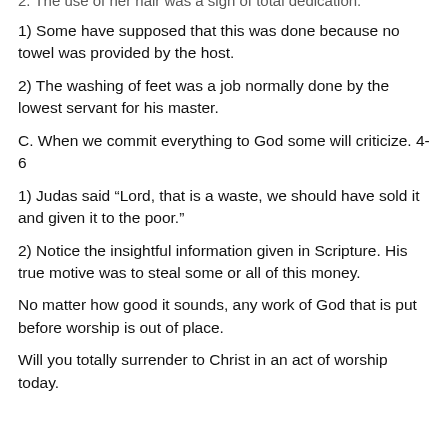2. The use of her hair was a sign of total dedication.
1) Some have supposed that this was done because no towel was provided by the host.
2) The washing of feet was a job normally done by the lowest servant for his master.
C. When we commit everything to God some will criticize. 4-6
1) Judas said “Lord, that is a waste, we should have sold it and given it to the poor.”
2) Notice the insightful information given in Scripture. His true motive was to steal some or all of this money.
No matter how good it sounds, any work of God that is put before worship is out of place.
Will you totally surrender to Christ in an act of worship today.